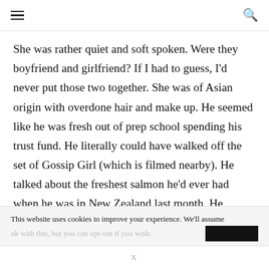≡ [menu] [search]
She was rather quiet and soft spoken. Were they boyfriend and girlfriend? If I had to guess, I'd never put those two together. She was of Asian origin with overdone hair and make up. He seemed like he was fresh out of prep school spending his trust fund. He literally could have walked off the set of Gossip Girl (which is filmed nearby). He talked about the freshest salmon he'd ever had when he was in New Zealand last month. He mentioned how he'd like to get a photo of
This website uses cookies to improve your experience. We'll assume
X